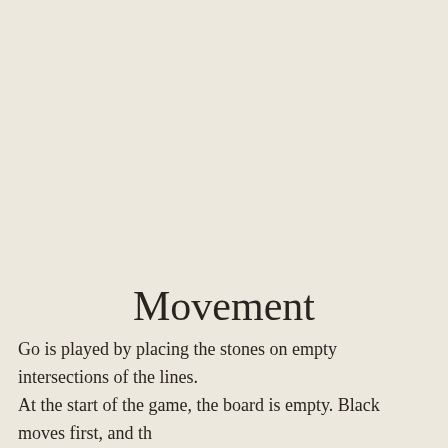Movement
Go is played by placing the stones on empty intersections of the lines. At the start of the game, the board is empty. Black moves first, and th